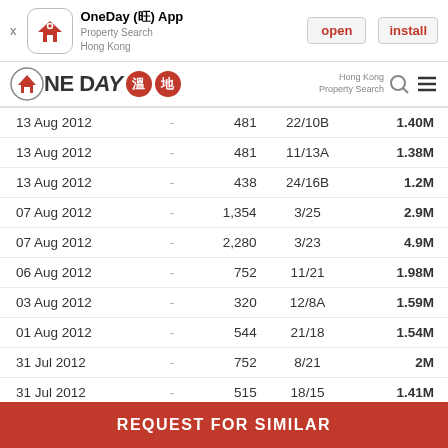[Figure (screenshot): App install banner for OneDay (旺) App - Property Search Hong Kong, with open and install buttons]
[Figure (logo): OneDay 溫地 logo with house icon, Hong Kong Property Search nav bar]
| Date |  | Size | Unit | Price |
| --- | --- | --- | --- | --- |
| 13 Aug 2012 | - | 481 | 22/10B | 1.40M |
| 13 Aug 2012 | - | 481 | 11/13A | 1.38M |
| 13 Aug 2012 | - | 438 | 24/16B | 1.2M |
| 07 Aug 2012 | - | 1,354 | 3/25 | 2.9M |
| 07 Aug 2012 | - | 2,280 | 3/23 | 4.9M |
| 06 Aug 2012 | - | 752 | 11/21 | 1.98M |
| 03 Aug 2012 | - | 320 | 12/8A | 1.59M |
| 01 Aug 2012 | - | 544 | 21/18 | 1.54M |
| 31 Jul 2012 | - | 752 | 8/21 | 2M |
| 31 Jul 2012 | - | 515 | 18/15 | 1.41M |
REQUEST FOR SIMILAR